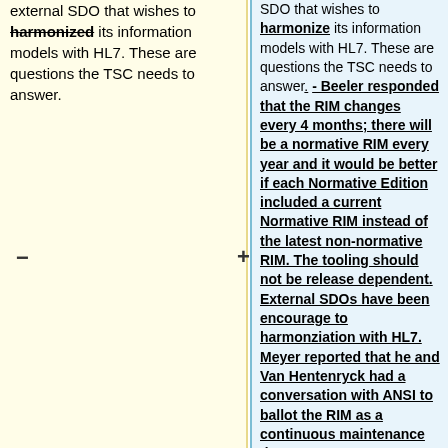external SDO that wishes to harmonized its information models with HL7. These are questions the TSC needs to answer.
SDO that wishes to harmonize its information models with HL7. These are questions the TSC needs to answer. - Beeler responded that the RIM changes every 4 months; there will be a normative RIM every year and it would be better if each Normative Edition included a current Normative RIM instead of the latest non-normative RIM. The tooling should not be release dependent. External SDOs have been encourage to harmonziation with HL7. Meyer reported that he and Van Hentenryck had a conversation with ANSI to ballot the RIM as a continuous maintenance document. We